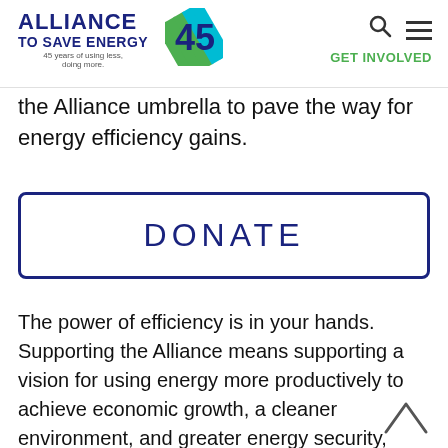Alliance to Save Energy — 45 years of using less, doing more. GET INVOLVED
the Alliance umbrella to pave the way for energy efficiency gains.
DONATE
The power of efficiency is in your hands. Supporting the Alliance means supporting a vision for using energy more productively to achieve economic growth, a cleaner environment, and greater energy security, affordability, and reliability.